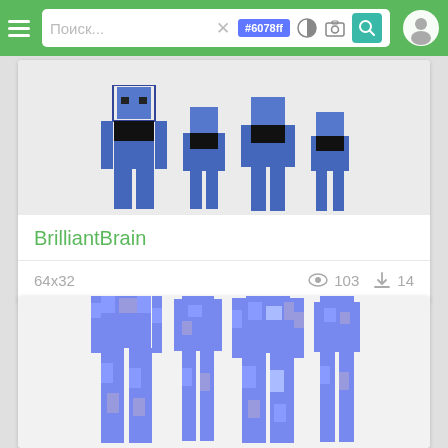[Figure (screenshot): Mobile app navigation bar with hamburger menu, search box showing placeholder text 'Поиск...' with X button, color badge '#6078ff', contrast icon, camera icon, search (teal) button, and user profile icon]
[Figure (screenshot): Minecraft skin card showing four views of a blue and black character skin for user BrilliantBrain, 64x32 size, 103 views, 14 downloads]
BrilliantBrain
64x32   103   14
[Figure (screenshot): Second Minecraft skin card showing four views of a blue pixelated character skin, partially visible]